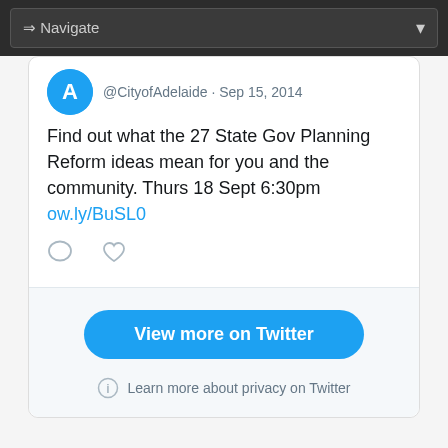⇒ Navigate
@CityofAdelaide · Sep 15, 2014
Find out what the 27 State Gov Planning Reform ideas mean for you and the community. Thurs 18 Sept 6:30pm ow.ly/BuSL0
[Figure (screenshot): View more on Twitter button and privacy note]
Learn more about privacy on Twitter